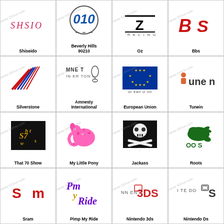[Figure (logo): Shiseido logo - stylized italic text]
Shiseido
[Figure (logo): Beverly Hills 90210 logo - circle with number]
Beverly Hills 90210
[Figure (logo): Oz logo - bold text with underline]
Oz
[Figure (logo): Bbs logo - bold red italic text]
Bbs
[Figure (logo): Silverstone logo - stylized lines]
Silverstone
[Figure (logo): Amnesty International logo - candle with barbed wire]
Amnesty International
[Figure (logo): European Union flag - blue with yellow stars]
European Union
[Figure (logo): Tunein logo]
Tunein
[Figure (logo): That 70 Show logo - gold text on black]
That 70 Show
[Figure (logo): My Little Pony logo - pink elephant character]
My Little Pony
[Figure (logo): Jackass logo - skull and crossbones on black]
Jackass
[Figure (logo): Roots logo - green beaver]
Roots
[Figure (logo): Sram logo - red S and M]
Sram
[Figure (logo): Pimp My Ride logo - stylized text]
Pimp My Ride
[Figure (logo): Nintendo 3DS logo]
Nintendo 3ds
[Figure (logo): Nintendo DS logo]
Nintendo Ds